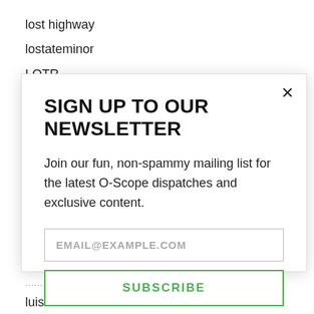lost highway
lostateminor
LOTR
lou reed
[Figure (screenshot): Newsletter signup modal dialog with title 'SIGN UP TO OUR NEWSLETTER', body text 'Join our fun, non-spammy mailing list for the latest O-Scope dispatches and exclusive content.', an email input field with placeholder 'EMAIL@EXAMPLE.COM', and a green-bordered SUBSCRIBE button. An X close button appears in the top right corner.]
luis buñuel